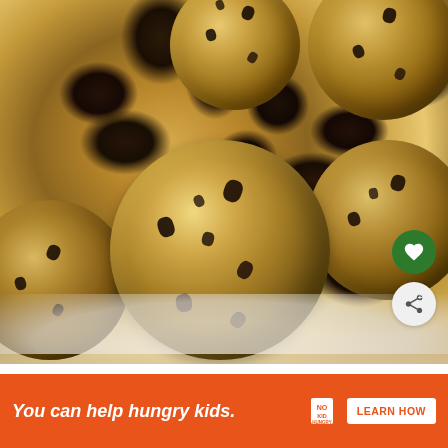[Figure (photo): Close-up photo of oatmeal energy balls / no-bake cookie dough bites on a white plate. The balls are made with oats, chocolate chips, and appear golden-brown in color. Multiple balls are visible arranged on a white surface.]
WHAT'S NEXT → Healthy no bake cookie...
You can help hungry kids. NO KID HUNGRY LEARN HOW